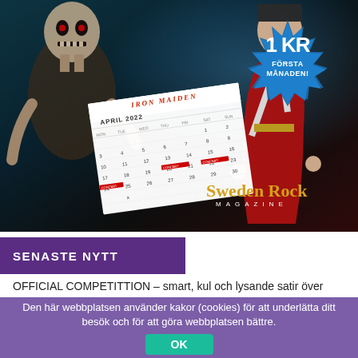[Figure (photo): Sweden Rock Magazine promotional image featuring Iron Maiden artwork on dark background with a calendar overlay showing April 2022, a starburst badge showing '1 KR FÖRSTA MÅNADEN!' and Sweden Rock Magazine logo in gold]
SENASTE NYTT
OFFICIAL COMPETITTION – smart, kul och lysande satir över
Den här webbplatsen använder kakor (cookies) för att underlätta ditt besök och för att göra webbplatsen bättre.